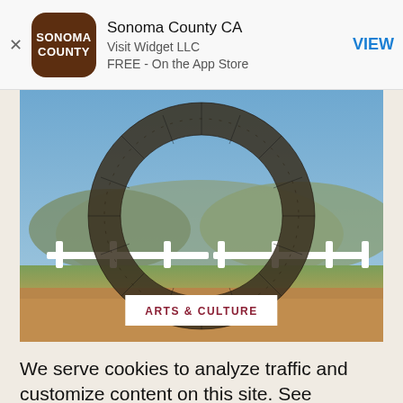[Figure (screenshot): App store banner for Sonoma County CA app by Visit Widget LLC, FREE on the App Store, with brown rounded square icon showing SONOMA COUNTY text, and a VIEW button in blue]
[Figure (photo): Large circular metal sculpture made of parallel bars forming a ring shape, set in an outdoor landscape with rolling hills, blue sky, and a white fence in the background. Autumn-colored ground.]
ARTS & CULTURE
We serve cookies to analyze traffic and customize content on this site. See Privacy Policy